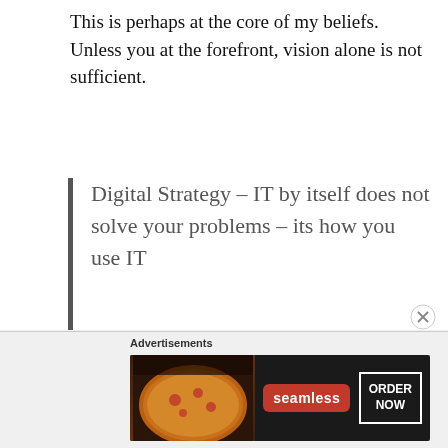This is perhaps at the core of my beliefs. Unless you at the forefront, vision alone is not sufficient.
Digital Strategy – IT by itself does not solve your problems – its how you use IT
Share this:
[Figure (other): Social share buttons: Twitter, Facebook, LinkedIn, More]
[Figure (other): Advertisements banner: Seamless food delivery ad with ORDER NOW button]
Advertisements